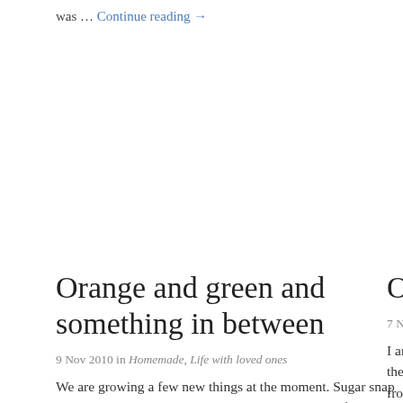was … Continue reading →
Orange and green and something in between
9 Nov 2010 in Homemade, Life with loved ones
We are growing a few new things at the moment. Sugar snap peas, which were an overwhelming success, none of them made
Ou
7 Nov
I am the from … C